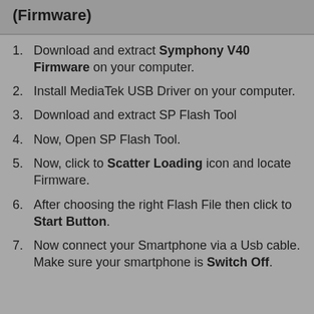(Firmware)
Download and extract Symphony V40 Firmware on your computer.
Install MediaTek USB Driver on your computer.
Download and extract SP Flash Tool
Now, Open SP Flash Tool.
Now, click to Scatter Loading icon and locate Firmware.
After choosing the right Flash File then click to Start Button.
Now connect your Smartphone via a Usb cable. Make sure your smartphone is Switch Off.